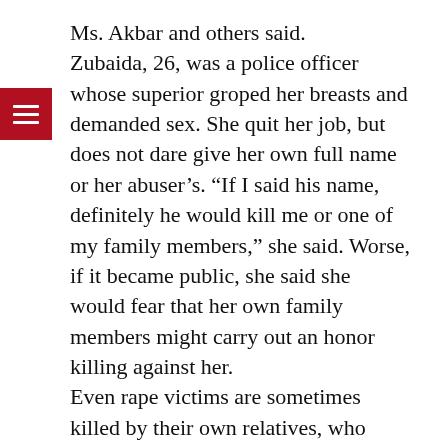Ms. Akbar and others said.
Zubaida, 26, was a police officer whose superior groped her breasts and demanded sex. She quit her job, but does not dare give her own full name or her abuser's. “If I said his name, definitely he would kill me or one of my family members,” she said. Worse, if it became public, she said she would fear that her own family members might carry out an honor killing against her.
Even rape victims are sometimes killed by their own relatives, who believe the shame attached to rape is worse than the suffering of the rape victim.
“In Afghanistan, we are both the victim and the criminal,” Zubaida said. “I can’t even tell my own